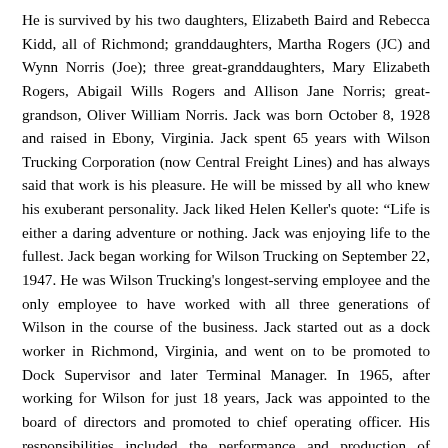He is survived by his two daughters, Elizabeth Baird and Rebecca Kidd, all of Richmond; granddaughters, Martha Rogers (JC) and Wynn Norris (Joe); three great-granddaughters, Mary Elizabeth Rogers, Abigail Wills Rogers and Allison Jane Norris; great-grandson, Oliver William Norris. Jack was born October 8, 1928 and raised in Ebony, Virginia. Jack spent 65 years with Wilson Trucking Corporation (now Central Freight Lines) and has always said that work is his pleasure. He will be missed by all who knew his exuberant personality. Jack liked Helen Keller's quote: “Life is either a daring adventure or nothing. Jack was enjoying life to the fullest. Jack began working for Wilson Trucking on September 22, 1947. He was Wilson Trucking's longest-serving employee and the only employee to have worked with all three generations of Wilson in the course of the business. Jack started out as a dock worker in Richmond, Virginia, and went on to be promoted to Dock Supervisor and later Terminal Manager. In 1965, after working for Wilson for just 18 years, Jack was appointed to the board of directors and promoted to chief operating officer. His responsibilities included the performance and production of terminal employees, involvement in the acquisition of other companies to increase the scope of operations and contribute to overall profitability. As Wilson Trucking grew, Jack was involved in the